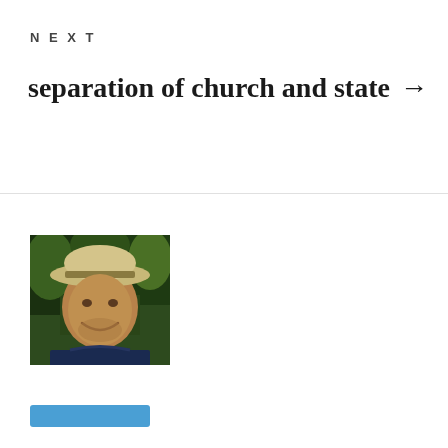NEXT
separation of church and state →
[Figure (photo): Portrait photo of a middle-aged man wearing a light tan/beige fedora-style hat, smiling, with greenery in background, wearing a dark blue shirt]
[Figure (other): Blue button/link element at bottom left]